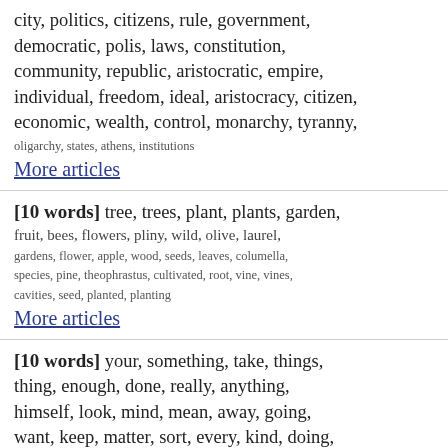city, politics, citizens, rule, government, democratic, polis, laws, constitution, community, republic, aristocratic, empire, individual, freedom, ideal, aristocracy, citizen, economic, wealth, control, monarchy, tyranny, oligarchy, states, athens, institutions
More articles
[10 words] tree, trees, plant, plants, garden, fruit, bees, flowers, pliny, wild, olive, laurel, gardens, flower, apple, wood, seeds, leaves, columella, species, pine, theophrastus, cultivated, root, vine, vines, cavities, seed, planted, planting
More articles
[10 words] your, something, take, things, thing, enough, done, really, anything, himself, look, mind, mean, away, going, want, keep, matter, sort, every, kind, doing, else, tell, suppose, having, ever, words, help, understand
More articles
[10 words] narrative, events, chapter, section, books, beginning, story, sections